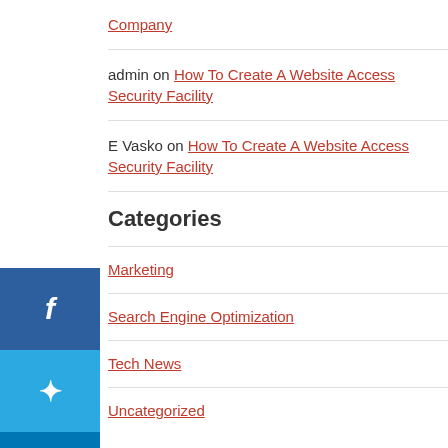Company
admin on How To Create A Website Access Security Facility
E Vasko on How To Create A Website Access Security Facility
Categories
Marketing
Search Engine Optimization
Tech News
Uncategorized